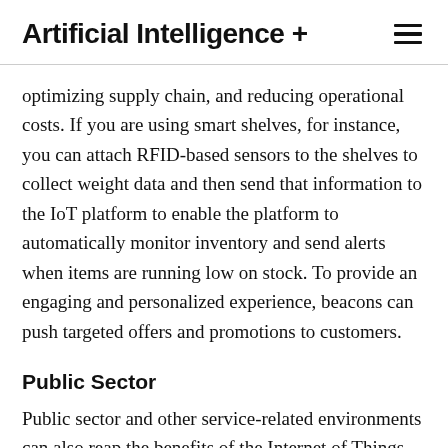Artificial Intelligence +
optimizing supply chain, and reducing operational costs. If you are using smart shelves, for instance, you can attach RFID-based sensors to the shelves to collect weight data and then send that information to the IoT platform to enable the platform to automatically monitor inventory and send alerts when items are running low on stock. To provide an engaging and personalized experience, beacons can push targeted offers and promotions to customers.
Public Sector
Public sector and other service-related environments can also reap the benefits of the Internet of Things (IoT). A good example is the ability of government-owned utilities to use IoT-based applications to